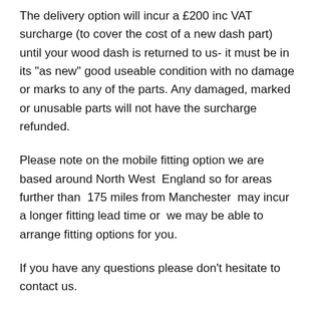The delivery option will incur a £200 inc VAT surcharge (to cover the cost of a new dash part) until your wood dash is returned to us- it must be in its "as new" good useable condition with no damage or marks to any of the parts. Any damaged, marked or unusable parts will not have the surcharge refunded.
Please note on the mobile fitting option we are based around North West  England so for areas  further than  175 miles from Manchester  may incur a longer fitting lead time or  we may be able to arrange fitting options for you.
If you have any questions please don't hesitate to contact us.
You may also like
[Figure (other): Product image placeholder (light grey box)]